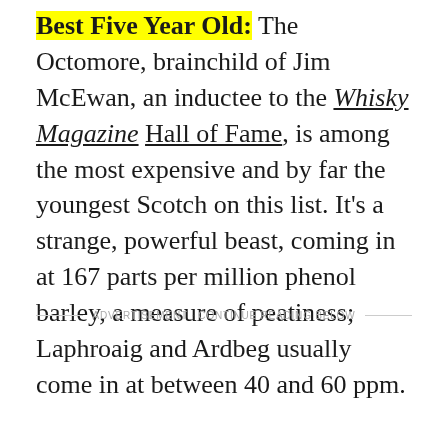Best Five Year Old: The Octomore, brainchild of Jim McEwan, an inductee to the Whisky Magazine Hall of Fame, is among the most expensive and by far the youngest Scotch on this list. It's a strange, powerful beast, coming in at 167 parts per million phenol barley, a measure of peatiness; Laphroaig and Ardbeg usually come in at between 40 and 60 ppm.
ADVERTISEMENT · CONTINUE READING BELOW